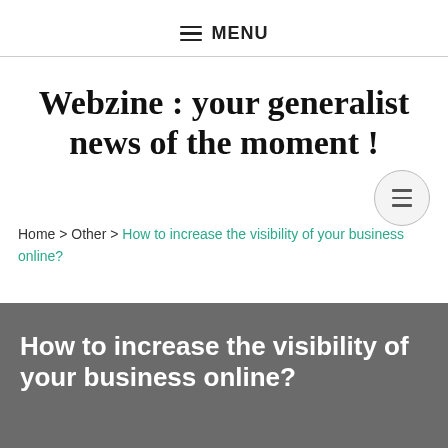≡ MENU
Webzine : your generalist news of the moment !
Home > Other > How to increase the visibility of your business online?
How to increase the visibility of your business online?